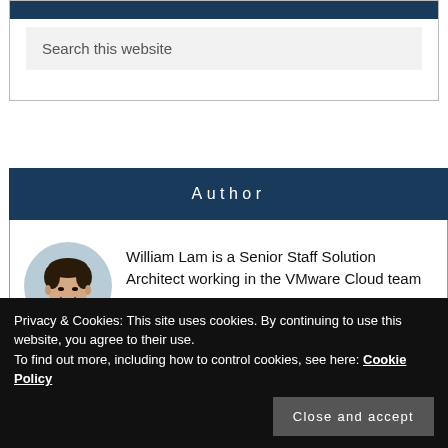Search this website
Author
[Figure (photo): Headshot photo of William Lam, a young Asian man smiling, wearing a white shirt, circular crop]
William Lam is a Senior Staff Solution Architect working in the VMware Cloud team
VMware Cloud based Software Defined
Privacy & Cookies: This site uses cookies. By continuing to use this website, you agree to their use.
To find out more, including how to control cookies, see here: Cookie Policy
Close and accept